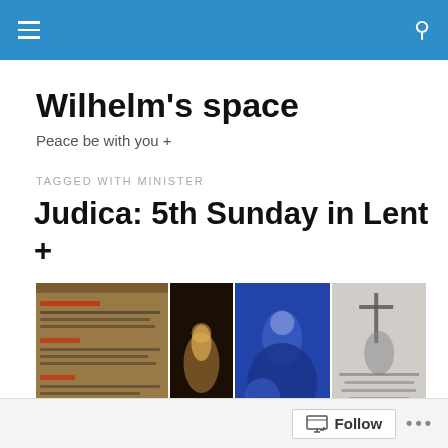Wilhelm's space
Peace be with you +
TAGGED WITH MINISTER
Judica: 5th Sunday in Lent +
[Figure (photo): Four images in a row: an open illuminated manuscript/missal with red and black text, a dark dramatic painting of a figure with light, a blue-toned illustration of a woman washing feet, and a black-and-white engraving of a crowd scene with a cross.]
Follow ...